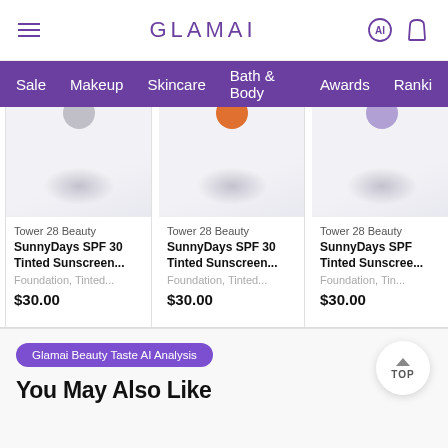GLAMAI
Sale | Makeup | Skincare | Bath & Body | Awards | Ranki...
[Figure (photo): Product card: Tower 28 Beauty SunnyDays SPF 30 Tinted Sunscreen... Foundation, Tinted... $30.00]
[Figure (photo): Product card: Tower 28 Beauty SunnyDays SPF 30 Tinted Sunscreen... Foundation, Tinted... $30.00]
[Figure (photo): Product card: Tower 28 Beauty SunnyDays SPF... Tinted Sunscree... Foundation, Tin... $30.00]
Glamai Beauty Taste AI Analysis
You May Also Like